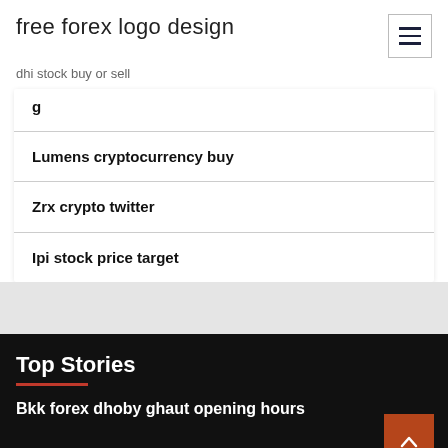free forex logo design
dhi stock buy or sell
Lumens cryptocurrency buy
Zrx crypto twitter
Ipi stock price target
Top Stories
Bkk forex dhoby ghaut opening hours